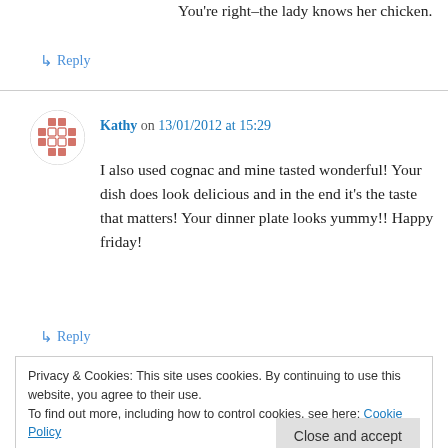You're right–the lady knows her chicken.
↳ Reply
Kathy on 13/01/2012 at 15:29
I also used cognac and mine tasted wonderful! Your dish does look delicious and in the end it's the taste that matters! Your dinner plate looks yummy!! Happy friday!
↳ Reply
Privacy & Cookies: This site uses cookies. By continuing to use this website, you agree to their use. To find out more, including how to control cookies, see here: Cookie Policy
Close and accept
Sandy on 13/01/2012 at 15:55